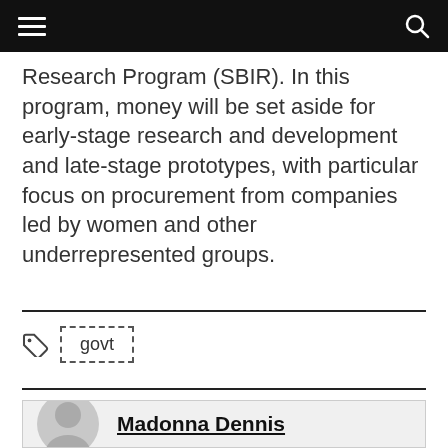Research Program (SBIR). In this program, money will be set aside for early-stage research and development and late-stage prototypes, with particular focus on procurement from companies led by women and other underrepresented groups.
govt
Madonna Dennis